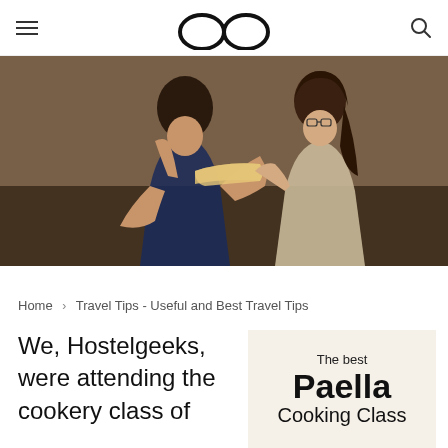Navigation header with hamburger menu, logo (glasses icon), and search icon
[Figure (photo): Two women in a kitchen holding a large flat bread or paella pan, appearing to be in a cooking class. The image is dark and warmly lit.]
Home > Travel Tips - Useful and Best Travel Tips
We, Hostelgeeks, were attending the cookery class of
[Figure (infographic): Promotional graphic with text: 'The best Paella Cooking Class' on a light beige background]